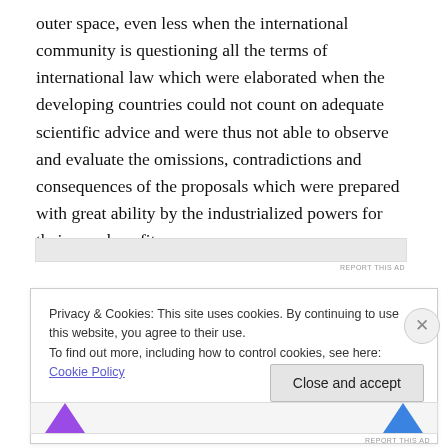outer space, even less when the international community is questioning all the terms of international law which were elaborated when the developing countries could not count on adequate scientific advice and were thus not able to observe and evaluate the omissions, contradictions and consequences of the proposals which were prepared with great ability by the industrialized powers for their own benefit.
[Figure (other): Advertisement bar (gray rectangle) with 'REPORT THIS AD' label]
Privacy & Cookies: This site uses cookies. By continuing to use this website, you agree to their use.
To find out more, including how to control cookies, see here: Cookie Policy
Close and accept